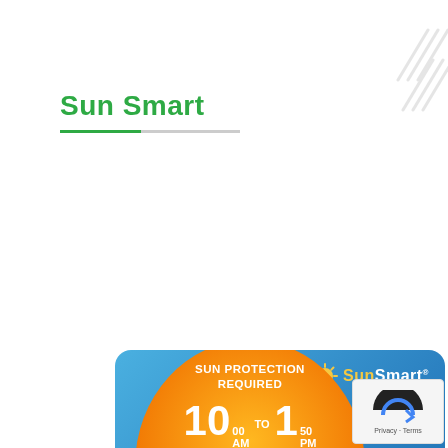Sun Smart
[Figure (infographic): SunSmart UV alert infographic card on blue background. Shows orange circle with 'SUN PROTECTION REQUIRED 10:00 AM TO 1:50 PM', MAX UV 4, UV IS NOW 0. Weather: 25 August, Shower or two. Location: Sydney, Min 11°, Max 20°.]
[Figure (other): reCAPTCHA verification widget with Privacy and Terms links.]